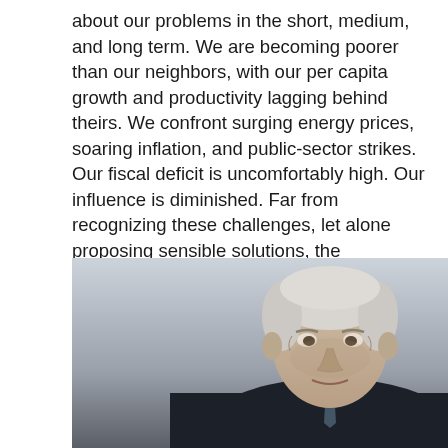about our problems in the short, medium, and long term. We are becoming poorer than our neighbors, with our per capita growth and productivity lagging behind theirs. We confront surging energy prices, soaring inflation, and public-sector strikes. Our fiscal deficit is uncomfortably high. Our influence is diminished. Far from recognizing these challenges, let alone proposing sensible solutions, the candidates to succeed Johnson are trying to win votes with reckless proposals like ever-larger tax cuts." ----- "There is one exception. Former Chancellor of the Exchequer Rishi Sunak refuses to abandon the notion that expenditure should bear some relationship to revenue. "
[Figure (photo): Photograph of an elderly white-haired man in a dark coat, looking slightly downward, photographed outdoors in a candid style.]